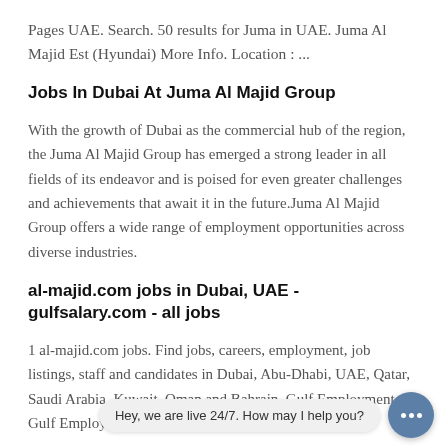Pages UAE. Search. 50 results for Juma in UAE. Juma Al Majid Est (Hyundai) More Info. Location : ...
Jobs In Dubai At Juma Al Majid Group
With the growth of Dubai as the commercial hub of the region, the Juma Al Majid Group has emerged a strong leader in all fields of its endeavor and is poised for even greater challenges and achievements that await it in the future.Juma Al Majid Group offers a wide range of employment opportunities across diverse industries.
al-majid.com jobs in Dubai, UAE - gulfsalary.com - all jobs
1 al-majid.com jobs. Find jobs, careers, employment, job listings, staff and candidates in Dubai, Abu-Dhabi, UAE, Qatar, Saudi Arabia, Kuwait, Oman and Bahrain. Gulf Employment, Gulf Employ. Juma Al Majid Group - Du...
Hey, we are live 24/7. How may I help you?